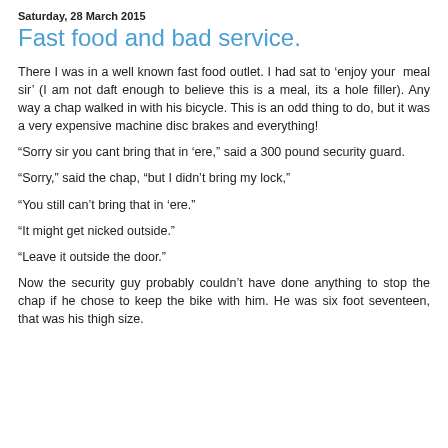Saturday, 28 March 2015
Fast food and bad service.
There I was in a well known fast food outlet. I had sat to ‘enjoy your  meal sir’ (I am not daft enough to believe this is a meal, its a hole filler). Any way a chap walked in with his bicycle. This is an odd thing to do, but it was a very expensive machine disc brakes and everything!
“Sorry sir you cant bring that in ‘ere,” said a 300 pound security guard.
“Sorry,” said the chap, “but I didn’t bring my lock,”
“You still can’t bring that in ‘ere.”
“It might get nicked outside.”
“Leave it outside the door.”
Now the security guy probably couldn’t have done anything to stop the chap if he chose to keep the bike with him. He was six foot seventeen, that was his thigh size.